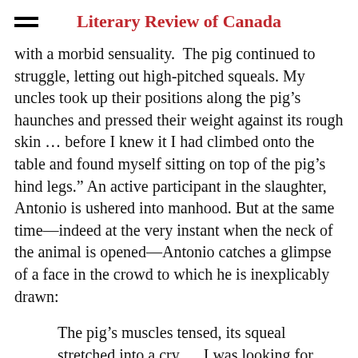Literary Review of Canada
with a morbid sensuality.“ The pig continued to struggle, letting out high-pitched squeals. My uncles took up their positions along the pig’s haunches and pressed their weight against its rough skin … before I knew it I had climbed onto the table and found myself sitting on top of the pig’s hind legs.” An active participant in the slaughter, Antonio is ushered into manhood. But at the same time—indeed at the very instant when the neck of the animal is opened—Antonio catches a glimpse of a face in the crowd to which he is inexplicably drawn:
The pig’s muscles tensed, its squeal stretched into a cry … I was looking for Manny and Ricky when I saw a face I had never seen before. He stood in the